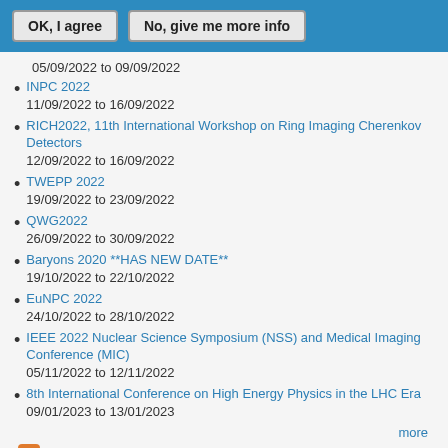OK, I agree | No, give me more info
05/09/2022 to 09/09/2022
INPC 2022
11/09/2022 to 16/09/2022
RICH2022, 11th International Workshop on Ring Imaging Cherenkov Detectors
12/09/2022 to 16/09/2022
TWEPP 2022
19/09/2022 to 23/09/2022
QWG2022
26/09/2022 to 30/09/2022
Baryons 2020 **HAS NEW DATE**
19/10/2022 to 22/10/2022
EuNPC 2022
24/10/2022 to 28/10/2022
IEEE 2022 Nuclear Science Symposium (NSS) and Medical Imaging Conference (MIC)
05/11/2022 to 12/11/2022
8th International Conference on High Energy Physics in the LHC Era
09/01/2023 to 13/01/2023
more
[Figure (other): RSS feed icon]